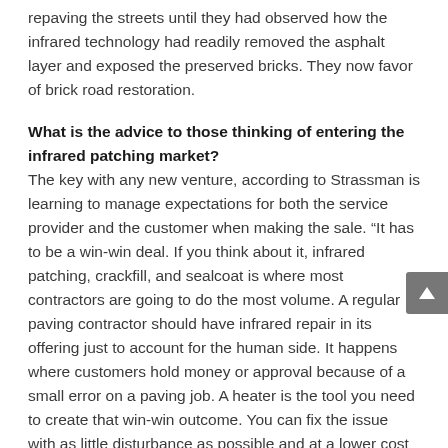repaving the streets until they had observed how the infrared technology had readily removed the asphalt layer and exposed the preserved bricks. They now favor of brick road restoration.
What is the advice to those thinking of entering the infrared patching market?
The key with any new venture, according to Strassman is learning to manage expectations for both the service provider and the customer when making the sale. “It has to be a win-win deal. If you think about it, infrared patching, crackfill, and sealcoat is where most contractors are going to do the most volume. A regular paving contractor should have infrared repair in its offering just to account for the human side. It happens where customers hold money or approval because of a small error on a paving job. A heater is the tool you need to create that win-win outcome. You can fix the issue with as little disturbance as possible and at a lower cost for the contractor.”